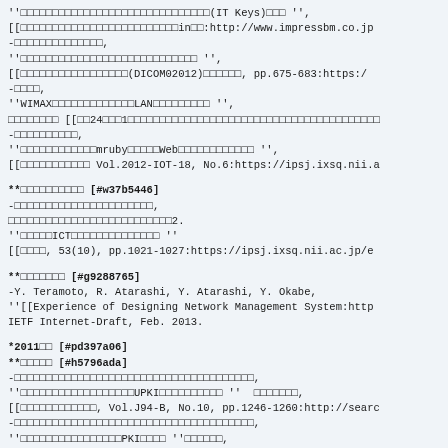''□□□□□□□□□□□□□□□□□□□□□□□□□□□□□□(IT Keys)□□□ '',
[[□□□□□□□□□□□□□□□□□□□□□□□□□in□□:http://www.impressbm.co.jp
-□□□□□□□□□□□□□□,
''□□□□□□□□□□□□□□□□□□□□□□□□□□□□ '',
[[□□□□□□□□□□□□□□□□□(DICOM02012)□□□□□□, pp.675-683:https:/
-□□□□,
''WIMAX□□□□□□□□□□□□□LAN□□□□□□□□□ '',
□□□□□□□□ [[□□24□□□1□□□□□□□□□□□□□□□□□□□□□□□□□□□□□□□□□□□□□□□□
-□□□□□□□□□□,
''□□□□□□□□□□□□mruby□□□□□Web□□□□□□□□□□□□ '',
[[□□□□□□□□□□□ Vol.2012-IOT-18, No.6:https://ipsj.ixsq.nii.a
**□□□□□□□□□□ [#w37b5446]
-□□□□□□□□□□□□□□□□□□□□□□,
□□□□□□□□□□□□□□□□□□□□□□□□□□2.
''□□□□□ICT□□□□□□□□□□□□□□ ''
[[□□□□, 53(10), pp.1021-1027:https://ipsj.ixsq.nii.ac.jp/e
**□□□□□□□ [#g9288765]
-Y. Teramoto, R. Atarashi, Y. Atarashi, Y. Okabe,
''[[Experience of Designing Network Management System:http
IETF Internet-Draft, Feb. 2013.
*2011□□ [#pd397a06]
**□□□□□ [#h5796ada]
-□□□□□□□□□□□□□□□□□□□□□□□□□□□□□□□□□□□□□□,
''□□□□□□□□□□□□□□□□□□UPKI□□□□□□□□□□ ''  □□□□□□□,
[[□□□□□□□□□□□□, Vol.J94-B, No.10, pp.1246-1260:http://searc
-□□□□□□□□□□□□□□□□□□□□□□□□□□□□□□□□□□□□□□,
''□□□□□□□□□□□□□□□□PKI□□□□ ''□□□□□□,